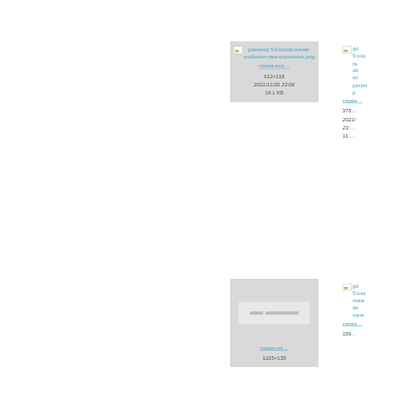[Figure (screenshot): Wiki media file browser showing thumbnail cards for tutorial images. First card shows 'gdevelop 5:tutorials:create-explosion-new-expression.png' with link 'create-exp...' and metadata 612×118, 2021/11/22 23:06, 14.1 KB. Second card (partially visible) shows truncated link 'gd 5:tuto...re...ob...ac...param...p...create...' and metadata 378×..., 2021/... 23:..., 11.... Third card shows preview image with 'create-rot...' link and metadata 1225×135. Fourth card (partially visible) shows 'gd 5:tuto...reate...de...squa...create...' link.]